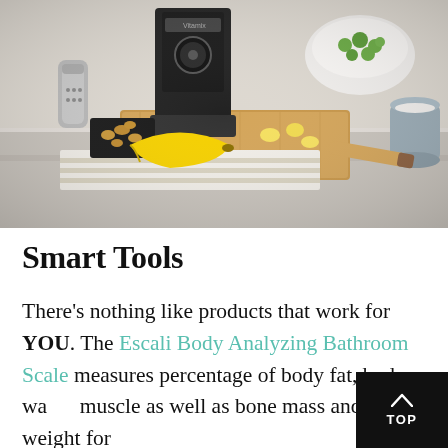[Figure (photo): A Vitamix blender surrounded by healthy food ingredients on a kitchen counter: nuts on a small tray, a banana, wooden cutting board with banana slices, a bowl of green items (possibly grapes or edamame), a bowl of nuts, a gray cup, and a folded striped cloth/towel underneath.]
Smart Tools
There's nothing like products that work for YOU. The Escali Body Analyzing Bathroom Scale measures percentage of body fat, body wa[ter,] muscle as well as bone mass and body weight for